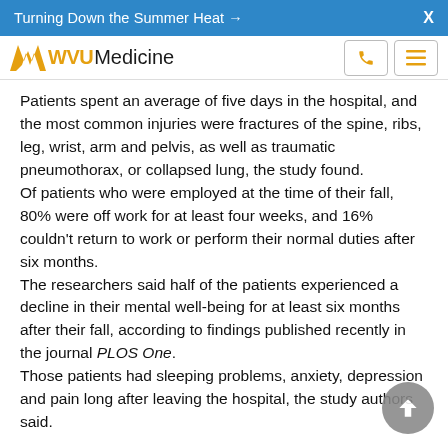Turning Down the Summer Heat →  X
[Figure (logo): WVU Medicine logo with flying WV wingmark in gold and navigation icons (phone and hamburger menu)]
Patients spent an average of five days in the hospital, and the most common injuries were fractures of the spine, ribs, leg, wrist, arm and pelvis, as well as traumatic pneumothorax, or collapsed lung, the study found.
Of patients who were employed at the time of their fall, 80% were off work for at least four weeks, and 16% couldn't return to work or perform their normal duties after six months.
The researchers said half of the patients experienced a decline in their mental well-being for at least six months after their fall, according to findings published recently in the journal PLOS One.
Those patients had sleeping problems, anxiety, depression and pain long after leaving the hospital, the study authors said.